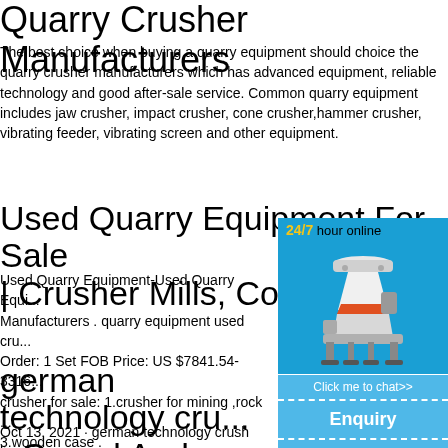Quarry Crusher Manufacturers
The best choice when buying a quarry equipment should choice the quarry crusher manufacturers which has advanced equipment, reliable technology and good after-sale service. Common quarry equipment includes jaw crusher, impact crusher, cone crusher,hammer crusher, vibrating feeder, vibrating screen and other equipment.
Used Quarry Equipment For Sale | Crusher Mills, Cone ..
Used Quarry Equipment-Used Quarry Equi... Manufacturers . quarry equipment used cru... Order: 1 Set FOB Price: US $7841.54-3316... crusher for sale: 1.crusher for mining ,rock ... 3.wooden case .
[Figure (illustration): Chat widget showing a cone crusher machine with 24/7 hour online text, Click me to chat>> button, Enquiry section, and limingjlmofen username]
german technology cru... - Gravel And Sand ...
Oct 13, 2021 · german technology crush lin... can provides complete set of crushing and